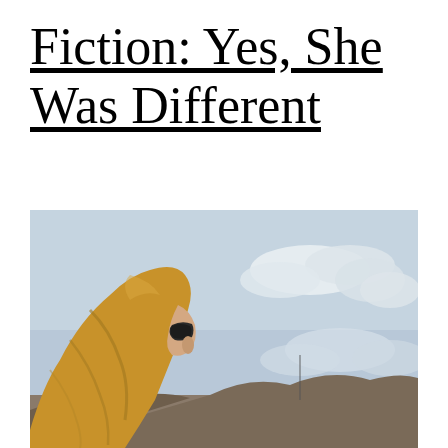Fiction: Yes, She Was Different
[Figure (photo): A person wearing a golden/mustard yellow hijab and dark sunglasses, photographed from behind/side profile, looking toward a cloudy sky with rocky landscape visible in the background.]